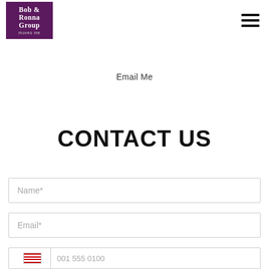[Figure (logo): Bob & Ronna Group 'moves me' logo — white serif text on dark purple/magenta background square]
[Figure (other): Hamburger menu icon — three horizontal black bars]
Email Me
CONTACT US
Name*
Email*
001 555 0100